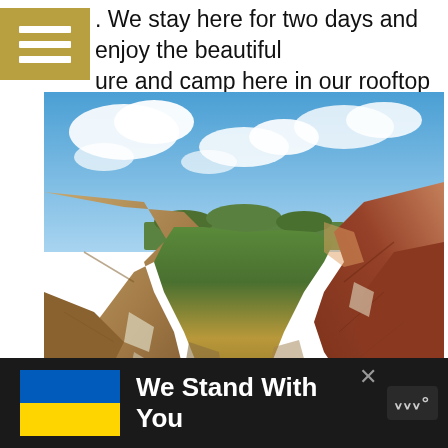. We stay here for two days and enjoy the beautiful ure and camp here in our rooftop tent.
[Figure (photo): Canyon landscape with red and orange eroded rock formations, a winding river at the bottom, green trees on the plateaus, and a blue sky with white clouds above.]
We Stand With You